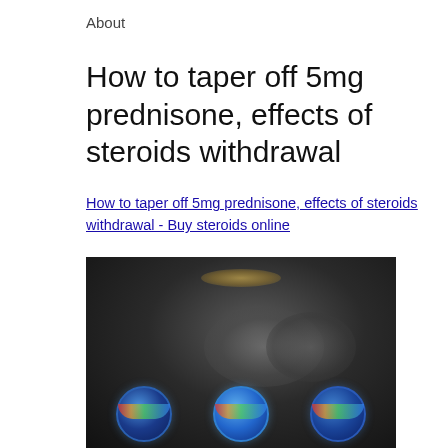About
How to taper off 5mg prednisone, effects of steroids withdrawal
How to taper off 5mg prednisone, effects of steroids withdrawal - Buy steroids online
[Figure (photo): Dark blurred image showing shadowy figures against a dark background with colorful circular icons at the bottom]